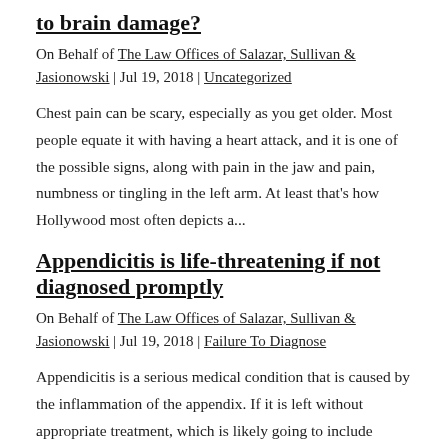to brain damage?
On Behalf of The Law Offices of Salazar, Sullivan & Jasionowski | Jul 19, 2018 | Uncategorized
Chest pain can be scary, especially as you get older. Most people equate it with having a heart attack, and it is one of the possible signs, along with pain in the jaw and pain, numbness or tingling in the left arm. At least that's how Hollywood most often depicts a...
Appendicitis is life-threatening if not diagnosed promptly
On Behalf of The Law Offices of Salazar, Sullivan & Jasionowski | Jul 19, 2018 | Failure To Diagnose
Appendicitis is a serious medical condition that is caused by the inflammation of the appendix. If it is left without appropriate treatment, which is likely going to include